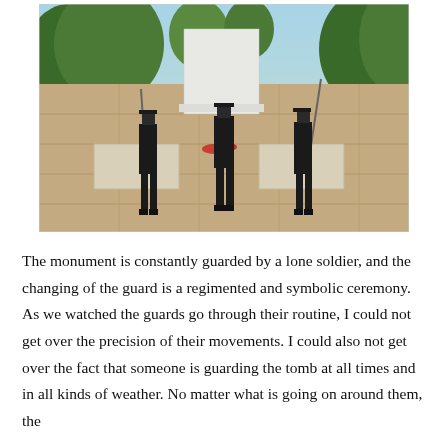[Figure (photo): Outdoor photograph of the Tomb of the Unknown Soldier at Arlington National Cemetery. Three soldiers in dark dress uniforms stand at attention on a stone plaza. A large white marble monument is visible in the center background. Green trees line the background under a blue sky.]
The monument is constantly guarded by a lone soldier, and the changing of the guard is a regimented and symbolic ceremony. As we watched the guards go through their routine, I could not get over the precision of their movements. I could also not get over the fact that someone is guarding the tomb at all times and in all kinds of weather. No matter what is going on around them, the guards uphold their duty.